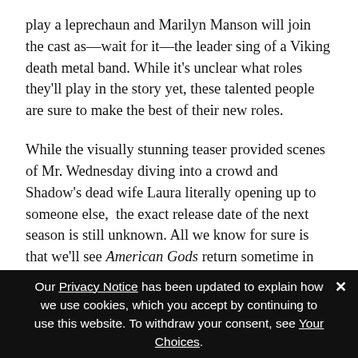play a leprechaun and Marilyn Manson will join the cast as—wait for it—the leader sing of a Viking death metal band. While it's unclear what roles they'll play in the story yet, these talented people are sure to make the best of their new roles.
While the visually stunning teaser provided scenes of Mr. Wednesday diving into a crowd and Shadow's dead wife Laura literally opening up to someone else,  the exact release date of the next season is still unknown. All we know for sure is that we'll see American Gods return sometime in early 2021.
Our Privacy Notice has been updated to explain how we use cookies, which you accept by continuing to use this website. To withdraw your consent, see Your Choices.